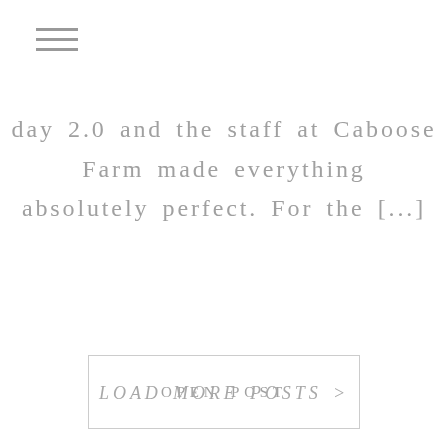[Figure (other): Hamburger menu icon — three horizontal lines stacked]
day 2.0 and the staff at Caboose Farm made everything absolutely perfect. For the [...]
OPEN POST
LOAD MORE POSTS >